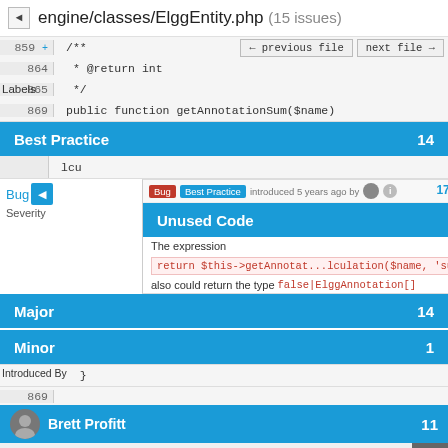engine/classes/ElggEntity.php (15 issues)
[Figure (screenshot): Code review interface showing PHP file engine/classes/ElggEntity.php with 15 issues. Displays code lines 859-869 with PHPDoc comment. Blue banner rows show issue categories: Best Practice (14), Unused Code (1), with severity Major (14) and Minor (1). An issue panel shows a Bug/Best Practice issue introduced 5 years ago about expression 'return $this->getAnnotat...lculation($name, "sum"' that could also return false|ElggAnnotation[]. Introduced By section shows Brett Profitt (11). Navigation buttons for previous file and next file are visible.]